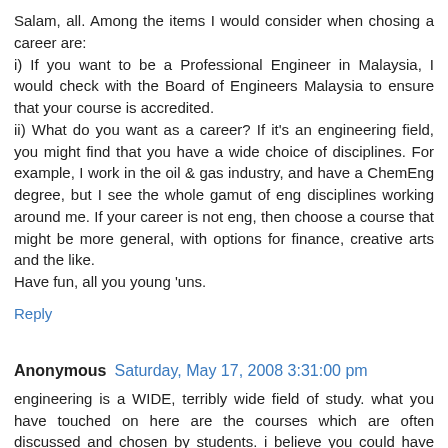Salam, all. Among the items I would consider when chosing a career are:
i) If you want to be a Professional Engineer in Malaysia, I would check with the Board of Engineers Malaysia to ensure that your course is accredited.
ii) What do you want as a career? If it's an engineering field, you might find that you have a wide choice of disciplines. For example, I work in the oil & gas industry, and have a ChemEng degree, but I see the whole gamut of eng disciplines working around me. If your career is not eng, then choose a course that might be more general, with options for finance, creative arts and the like.
Have fun, all you young 'uns.
Reply
Anonymous  Saturday, May 17, 2008 3:31:00 pm
engineering is a WIDE, terribly wide field of study. what you have touched on here are the courses which are often discussed and chosen by students. i believe you could have done a little bit more homework and talked about the